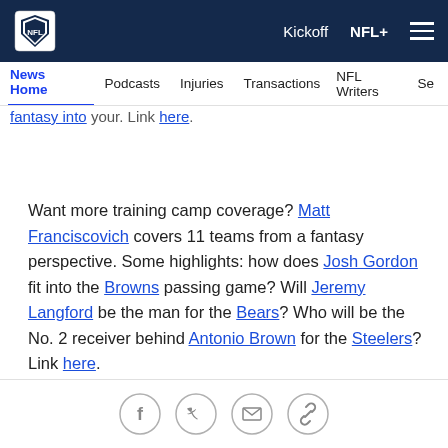NFL Navigation bar with logo, Kickoff, NFL+, menu, News Home, Podcasts, Injuries, Transactions, NFL Writers
fantasy into your. Link here.
Want more training camp coverage? Matt Franciscovich covers 11 teams from a fantasy perspective. Some highlights: how does Josh Gordon fit into the Browns passing game? Will Jeremy Langford be the man for the Bears? Who will be the No. 2 receiver behind Antonio Brown for the Steelers? Link here.
[Figure (other): Social sharing icons row: Facebook, Twitter, Email, Link/chain icon]